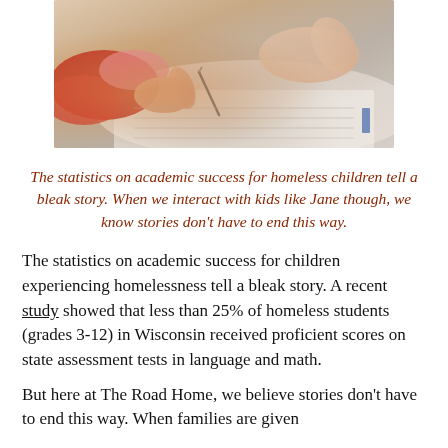[Figure (photo): Close-up photo of children's hands writing in notebooks, one child wearing a red and pink sleeve visible]
The statistics on academic success for homeless children tell a bleak story. When we interact with kids like Jane though, we know stories don't have to end this way.
The statistics on academic success for children experiencing homelessness tell a bleak story. A recent study showed that less than 25% of homeless students (grades 3-12) in Wisconsin received proficient scores on state assessment tests in language and math.
But here at The Road Home, we believe stories don't have to end this way. When families are given